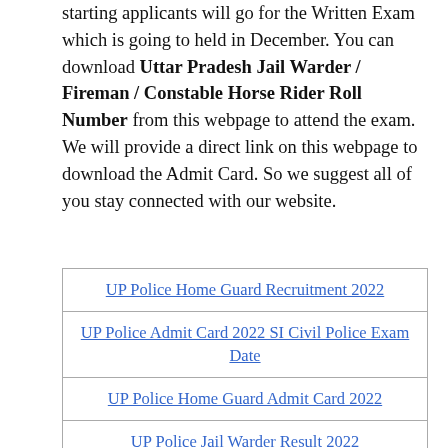starting applicants will go for the Written Exam which is going to held in December. You can download Uttar Pradesh Jail Warder / Fireman / Constable Horse Rider Roll Number from this webpage to attend the exam. We will provide a direct link on this webpage to download the Admit Card. So we suggest all of you stay connected with our website.
| UP Police Home Guard Recruitment 2022 |
| UP Police Admit Card 2022 SI Civil Police Exam Date |
| UP Police Home Guard Admit Card 2022 |
| UP Police Jail Warder Result 2022 |